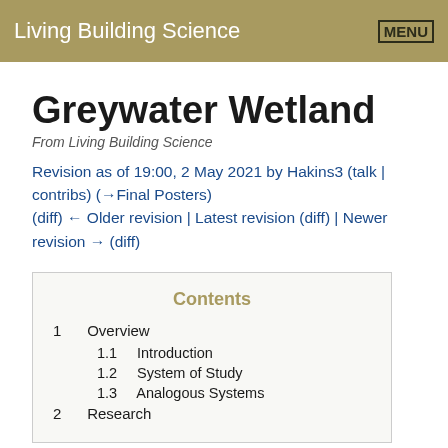Living Building Science   MENU
Greywater Wetland
From Living Building Science
Revision as of 19:00, 2 May 2021 by Hakins3 (talk | contribs) (→Final Posters)
(diff) ← Older revision | Latest revision (diff) | Newer revision → (diff)
Contents
1  Overview
1.1  Introduction
1.2  System of Study
1.3  Analogous Systems
2  Research